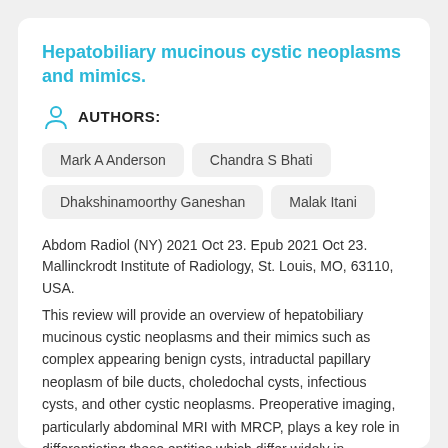Hepatobiliary mucinous cystic neoplasms and mimics.
AUTHORS:
Mark A Anderson
Chandra S Bhati
Dhakshinamoorthy Ganeshan
Malak Itani
Abdom Radiol (NY) 2021 Oct 23. Epub 2021 Oct 23. Mallinckrodt Institute of Radiology, St. Louis, MO, 63110, USA.
This review will provide an overview of hepatobiliary mucinous cystic neoplasms and their mimics such as complex appearing benign cysts, intraductal papillary neoplasm of bile ducts, choledochal cysts, infectious cysts, and other cystic neoplasms. Preoperative imaging, particularly abdominal MRI with MRCP, plays a key role in differentiating these entities which differ widely in management. Familiarity with the differentiating imaging features of mucinous cystic neoplasms and their mimics